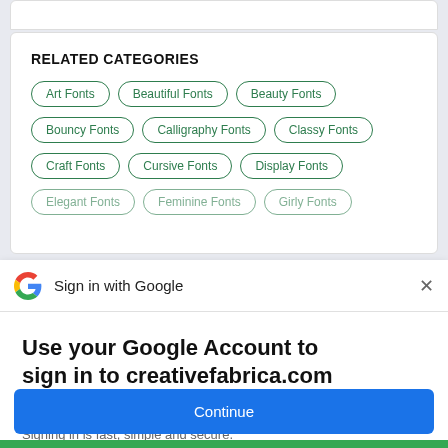RELATED CATEGORIES
Art Fonts
Beautiful Fonts
Beauty Fonts
Bouncy Fonts
Calligraphy Fonts
Classy Fonts
Craft Fonts
Cursive Fonts
Display Fonts
Elegant Fonts
Feminine Fonts
Girly Fonts
Sign in with Google
Use your Google Account to sign in to creativefabrica.com
No more passwords to remember. Signing in is fast, simple and secure.
Continue